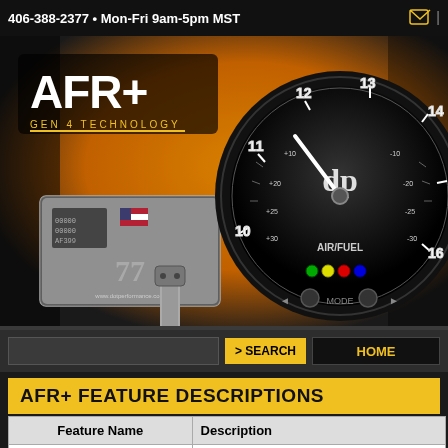406-388-2377 • Mon-Fri 9am-5pm MST
[Figure (photo): AFR+ Gen 4 Technology product photo showing a control module with US flag, an air/fuel ratio gauge (range 10-16), and an oxygen sensor on a yellow/orange gradient background]
AFR+ FEATURE DESCRIPTIONS
| Feature Name | Description |
| --- | --- |
| NONE | Feature is NOT enabled and will |